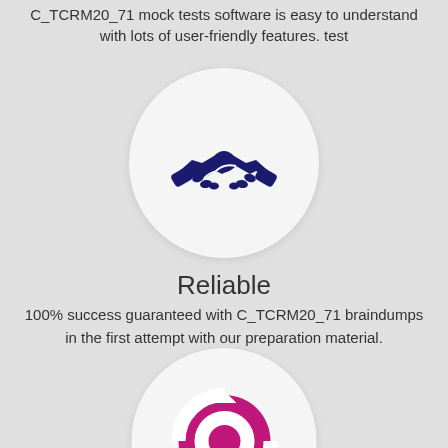C_TCRM20_71 mock tests software is easy to understand with lots of user-friendly features. test
[Figure (illustration): Dark navy blue handshake icon inside a light gray circle, representing reliability]
Reliable
100% success guaranteed with C_TCRM20_71 braindumps in the first attempt with our preparation material.
[Figure (illustration): Magenta/pink circular refresh/sync arrows icon inside a light gray circle]